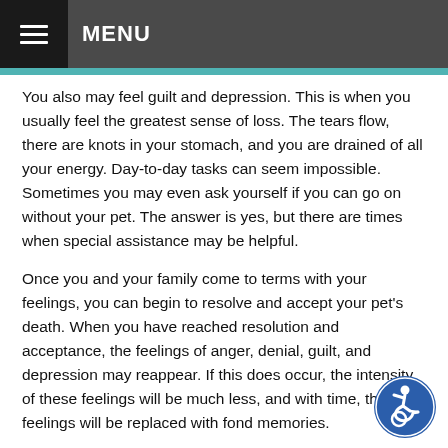MENU
You also may feel guilt and depression. This is when you usually feel the greatest sense of loss. The tears flow, there are knots in your stomach, and you are drained of all your energy. Day-to-day tasks can seem impossible. Sometimes you may even ask yourself if you can go on without your pet. The answer is yes, but there are times when special assistance may be helpful.
Once you and your family come to terms with your feelings, you can begin to resolve and accept your pet's death. When you have reached resolution and acceptance, the feelings of anger, denial, guilt, and depression may reappear. If this does occur, the intensity of these feelings will be much less, and with time, these feelings will be replaced with fond memories.
Although the signs of grief apply whether the loss a loving pet or a human loved one, grieving is a